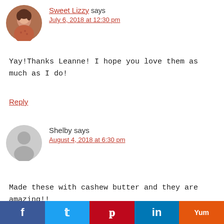[Figure (photo): Circular avatar photo of Sweet Lizzy, a woman smiling, wearing a patterned top]
Sweet Lizzy says
July 6, 2018 at 12:30 pm
Yay!Thanks Leanne! I hope you love them as much as I do!
Reply
[Figure (illustration): Generic gray circular avatar placeholder with silhouette of a person]
Shelby says
August 4, 2018 at 6:30 pm
Made these with cashew butter and they are amazing!!
Reply